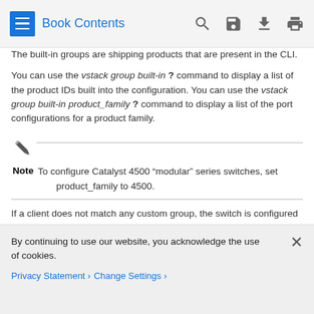Book Contents
The built-in groups are shipping products that are present in the CLI.
You can use the vstack group built-in ? command to display a list of the product IDs built into the configuration. You can use the vstack group built-in product_family ? command to display a list of the port configurations for a product family.
Note   To configure Catalyst 4500 “modular” series switches, set product_family to 4500.
If a client does not match any custom group, the switch is configured with a built-in group configuration and image. If a switch does not match any group, the default image and
By continuing to use our website, you acknowledge the use of cookies.
Privacy Statement > Change Settings >